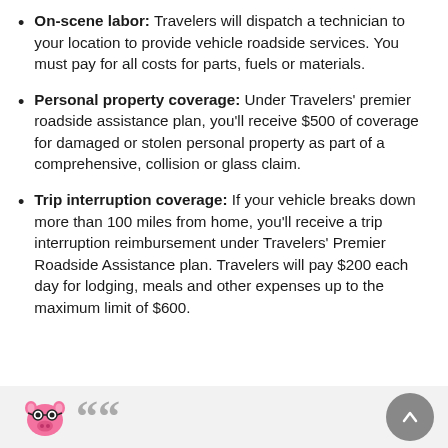On-scene labor: Travelers will dispatch a technician to your location to provide vehicle roadside services. You must pay for all costs for parts, fuels or materials.
Personal property coverage: Under Travelers' premier roadside assistance plan, you'll receive $500 of coverage for damaged or stolen personal property as part of a comprehensive, collision or glass claim.
Trip interruption coverage: If your vehicle breaks down more than 100 miles from home, you'll receive a trip interruption reimbursement under Travelers' Premier Roadside Assistance plan. Travelers will pay $200 each day for lodging, meals and other expenses up to the maximum limit of $600.